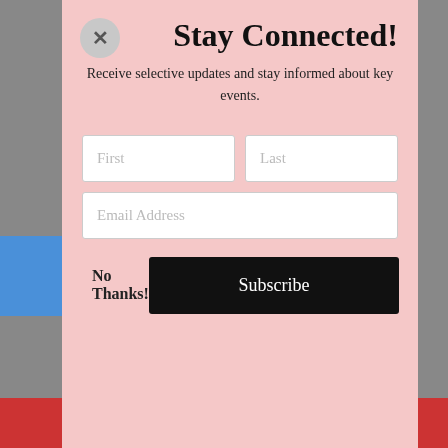Stay Connected!
Receive selective updates and stay informed about key events.
[Figure (screenshot): Newsletter subscription modal form with First, Last, and Email Address input fields, a 'No Thanks!' link, and a black 'Subscribe' button on a pink background with a close (X) button in the top left corner.]